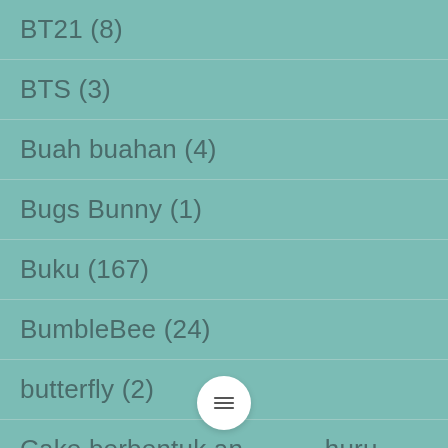BT21 (8)
BTS (3)
Buah buahan (4)
Bugs Bunny (1)
Buku (167)
BumbleBee (24)
butterfly (2)
Cake berbentuk angkyhuru (272)